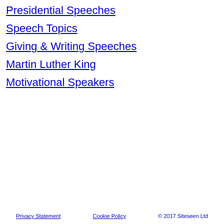Presidential Speeches
Speech Topics
Giving & Writing Speeches
Martin Luther King
Motivational Speakers
Privacy Statement   Cookie Policy   © 2017 Siteseen Ltd